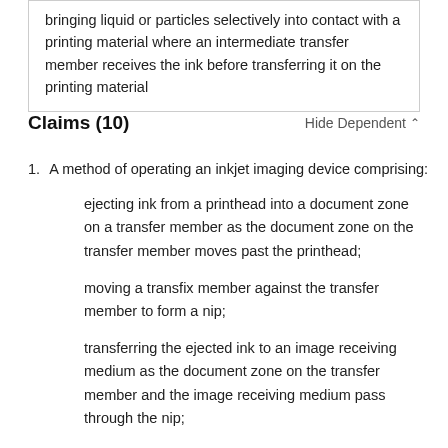bringing liquid or particles selectively into contact with a printing material where an intermediate transfer member receives the ink before transferring it on the printing material
Claims (10)
Hide Dependent
1. A method of operating an inkjet imaging device comprising:
ejecting ink from a printhead into a document zone on a transfer member as the document zone on the transfer member moves past the printhead;
moving a transfix member against the transfer member to form a nip;
transferring the ejected ink to an image receiving medium as the document zone on the transfer member and the image receiving medium pass through the nip;
altering operation of the inkjet imaging device in detection of a predetermined mode of operation of the inkjet imaging device, the operation alteration including: